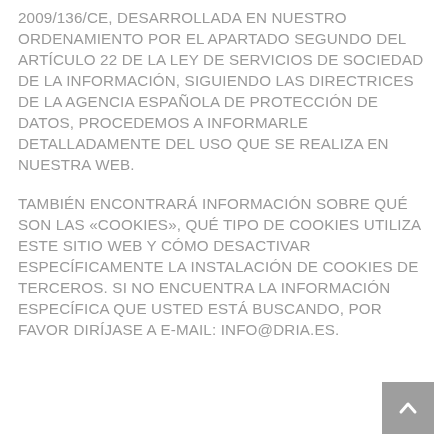2009/136/CE, DESARROLLADA EN NUESTRO ORDENAMIENTO POR EL APARTADO SEGUNDO DEL ARTÍCULO 22 DE LA LEY DE SERVICIOS DE SOCIEDAD DE LA INFORMACIÓN, SIGUIENDO LAS DIRECTRICES DE LA AGENCIA ESPAÑOLA DE PROTECCIÓN DE DATOS, PROCEDEMOS A INFORMARLE DETALLADAMENTE DEL USO QUE SE REALIZA EN NUESTRA WEB.
TAMBIÉN ENCONTRARÁ INFORMACIÓN SOBRE QUÉ SON LAS «COOKIES», QUÉ TIPO DE COOKIES UTILIZA ESTE SITIO WEB Y CÓMO DESACTIVAR ESPECÍFICAMENTE LA INSTALACIÓN DE COOKIES DE TERCEROS. SI NO ENCUENTRA LA INFORMACIÓN ESPECÍFICA QUE USTED ESTÁ BUSCANDO, POR FAVOR DIRÍJASE A E-MAIL: INFO@DRIA.ES.